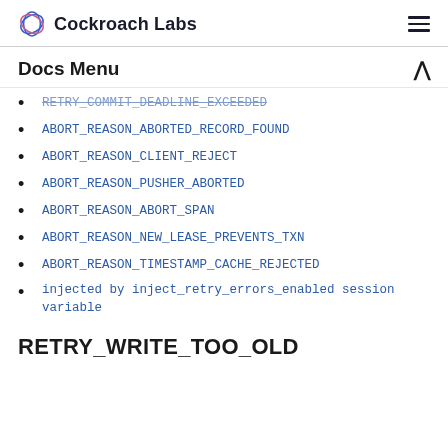Cockroach Labs
Docs Menu
RETRY_COMMIT_DEADLINE_EXCEEDED
ABORT_REASON_ABORTED_RECORD_FOUND
ABORT_REASON_CLIENT_REJECT
ABORT_REASON_PUSHER_ABORTED
ABORT_REASON_ABORT_SPAN
ABORT_REASON_NEW_LEASE_PREVENTS_TXN
ABORT_REASON_TIMESTAMP_CACHE_REJECTED
injected by inject_retry_errors_enabled session variable
RETRY_WRITE_TOO_OLD